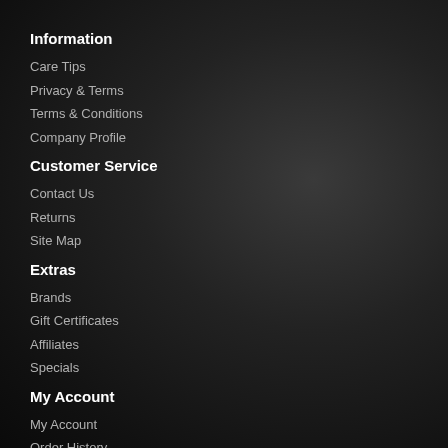Information
Care Tips
Privacy & Terms
Terms & Conditions
Company Profile
Customer Service
Contact Us
Returns
Site Map
Extras
Brands
Gift Certificates
Affiliates
Specials
My Account
My Account
Order History
Wish List
Newsletter